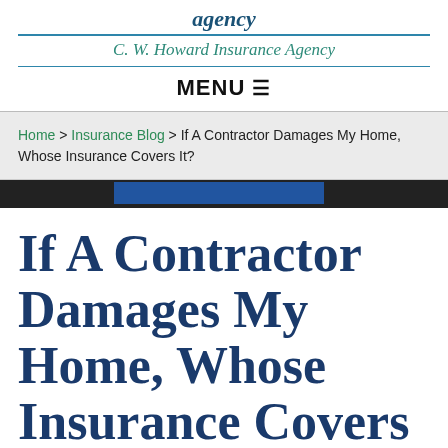C. W. Howard Insurance Agency
MENU ≡
Home > Insurance Blog > If A Contractor Damages My Home, Whose Insurance Covers It?
If A Contractor Damages My Home, Whose Insurance Covers It?